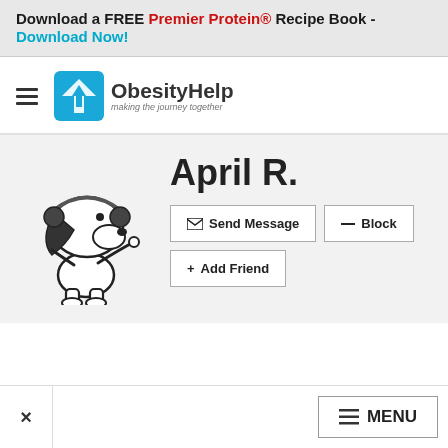Download a FREE Premier Protein® Recipe Book - Download Now!
[Figure (logo): ObesityHelp logo with a blue bird/arrow icon and tagline 'making the journey together']
[Figure (illustration): Snoopy character illustration in black and white, wearing headphones]
April R.
✉ Send Message | ⊟ Block | + Add Friend
☰ MENU